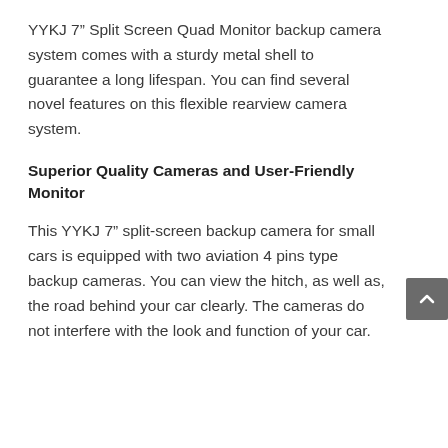YYKJ 7" Split Screen Quad Monitor backup camera system comes with a sturdy metal shell to guarantee a long lifespan. You can find several novel features on this flexible rearview camera system.
Superior Quality Cameras and User-Friendly Monitor
This YYKJ 7" split-screen backup camera for small cars is equipped with two aviation 4 pins type backup cameras. You can view the hitch, as well as, the road behind your car clearly. The cameras do not interfere with the look and function of your car.